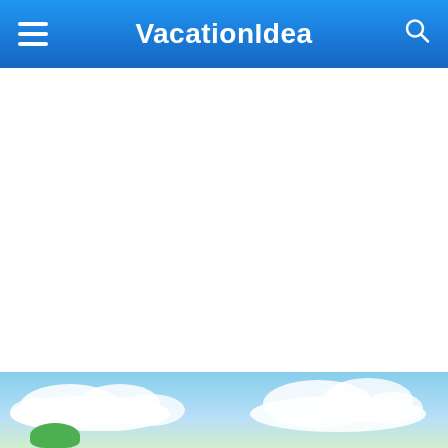VacationIdea
1. Ambrose A. Call State Park
[Figure (photo): Outdoor scene with blue sky, white clouds, and green tree top visible at the bottom edge]